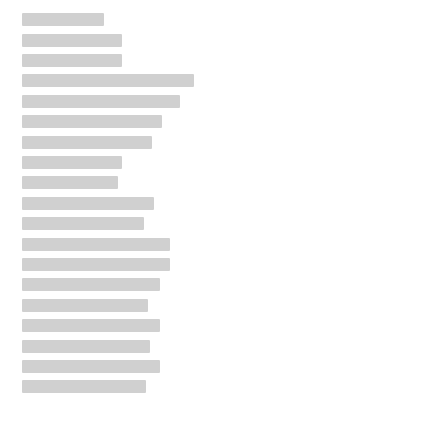[redacted]
[redacted]
[redacted]
[redacted]
[redacted]
[redacted]
[redacted]
[redacted]
[redacted]
[redacted]
[redacted]
[redacted]
[redacted]
[redacted]
[redacted]
[redacted]
[redacted]
[redacted]
[redacted]